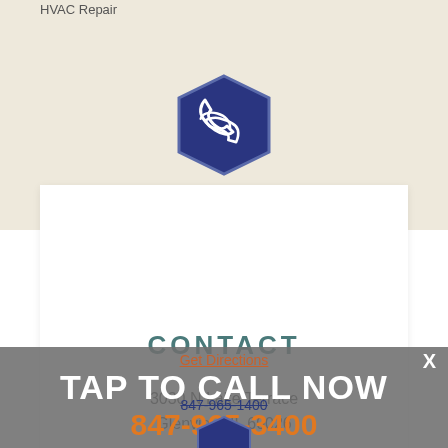HVAC Repair
[Figure (illustration): Dark blue hexagon badge with white telephone handset icon]
CONTACT
3030 N Lake Terrace
Glenview, IL 60026
Get Directions
TAP TO CALL NOW
847-965-1400
847-965-3400
[Figure (illustration): Partial dark blue hexagon badge visible at bottom]